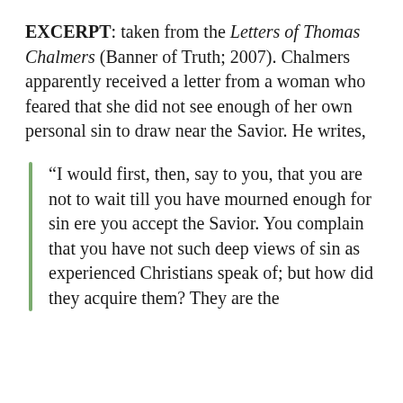EXCERPT: taken from the Letters of Thomas Chalmers (Banner of Truth; 2007). Chalmers apparently received a letter from a woman who feared that she did not see enough of her own personal sin to draw near the Savior. He writes,
“I would first, then, say to you, that you are not to wait till you have mourned enough for sin ere you accept the Savior. You complain that you have not such deep views of sin as experienced Christians speak of; but how did they acquire them? They are the